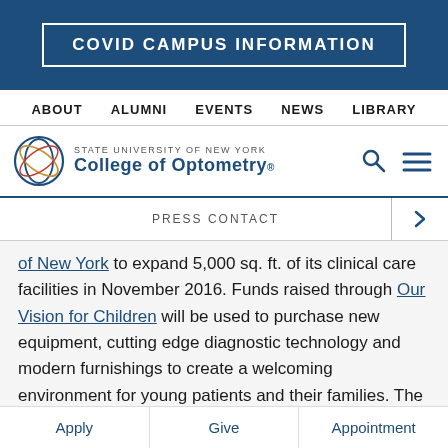COVID CAMPUS INFORMATION
ABOUT  ALUMNI  EVENTS  NEWS  LIBRARY
[Figure (logo): State University of New York College of Optometry logo with circular eye graphic]
PRESS CONTACT
of New York to expand 5,000 sq. ft. of its clinical care facilities in November 2016. Funds raised through Our Vision for Children will be used to purchase new equipment, cutting edge diagnostic technology and modern furnishings to create a welcoming environment for young patients and their families. The new facility will also provide a state-of-the-art educational environment that incorporates clinical research and evidence-based
Apply   Give   Appointment